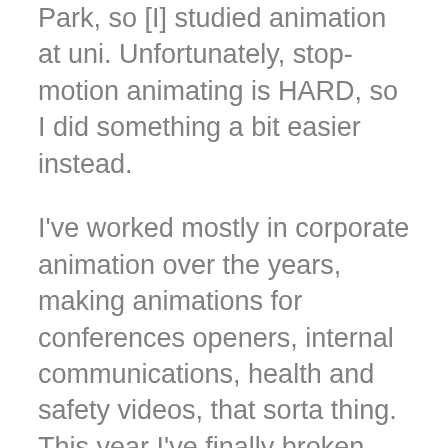Park, so [I] studied animation at uni. Unfortunately, stop-motion animating is HARD, so I did something a bit easier instead.
I've worked mostly in corporate animation over the years, making animations for conferences openers, internal communications, health and safety videos, that sorta thing. This year I've finally broken into broadcast animation though, which is where I really want to be. I've been working on a preschool series for Cartoonito called Childs Farm for the past few months and recently started working on a pilot for something I can't really talk about in public yet (sorry).
Animation is entirely work for me. I've considered doing some animation for myself...